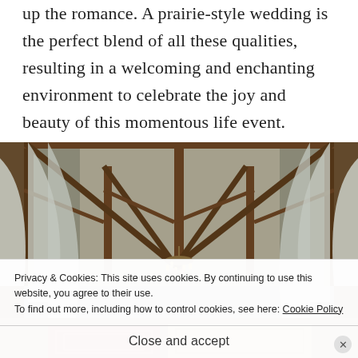up the romance. A prairie-style wedding is the perfect blend of all these qualities, resulting in a welcoming and enchanting environment to celebrate the joy and beauty of this momentous life event.
[Figure (photo): Interior of a rustic barn decorated for a wedding, with draped white fabric/curtains on the sides, exposed wooden beam structure, and a chandelier with candles at the center. Colorful rugs visible at the bottom.]
Privacy & Cookies: This site uses cookies. By continuing to use this website, you agree to their use.
To find out more, including how to control cookies, see here: Cookie Policy
Close and accept